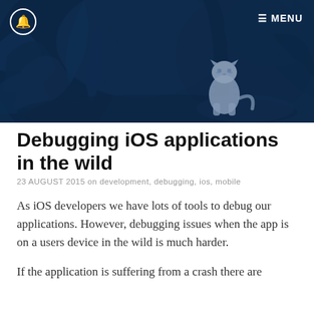[Figure (photo): Dark blue-tinted jungle scene with a white tiger sitting on a rock among tropical foliage, used as a hero/banner image]
MENU
Debugging iOS applications in the wild
23 AUGUST 2015 on development, debugging, ios, mobile
As iOS developers we have lots of tools to debug our applications. However, debugging issues when the app is on a users device in the wild is much harder.
If the application is suffering from a crash there are